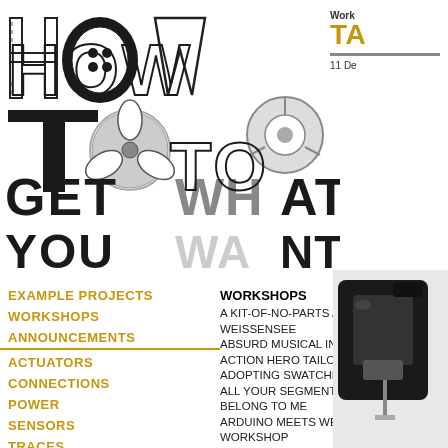[Figure (illustration): Decorative hand-drawn lettering reading HOW TO GET WHAT YOU WANT with letters made from sewing/crafting objects like buttons, zippers, thread spools, fans, wrenches, etc.]
Worksh
TA
11 De
EXAMPLE PROJECTS
WORKSHOPS
ANNOUNCEMENTS
ACTUATORS
CONNECTIONS
POWER
SENSORS
TRACES
CIRCUITS AND CODE
WORKSHOPS
A KIT-OF-NO-PARTS AT WEISSENSEE
ABSURD MUSICAL INTERFACES
ACTION HERO TAILORING
ADOPTING SWATCHES
ALL YOUR SEGMENTS ARE BELONG TO ME
ARDUINO MEETS WEARABLES WORKSHOP
BEAUTIFUL CIRCUITS
BEND, SEW, TOUCH, FEEL,
[Figure (photo): Partial photo of a sewing machine or similar device, black, on the right side of the page]